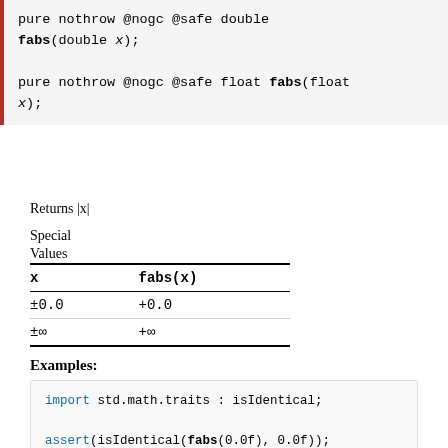pure nothrow @nogc @safe double fabs(double x);
pure nothrow @nogc @safe float fabs(float x);
Returns |x|
| x | fabs(x) |
| --- | --- |
| ±0.0 | +0.0 |
| ±∞ | +∞ |
Examples:
import std.math.traits : isIdentical;
assert(isIdentical(fabs(0.0f), 0.0f));
assert(isIdentical(fabs(-0.0f), 0.0f));
writeln(fabs(-10.0f)); // 10.0f